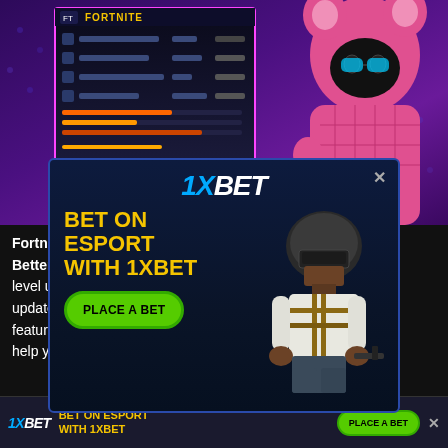[Figure (screenshot): Purple gaming background with Fortnite UI panel showing menu items and a pink bear character costume on the right side]
[Figure (screenshot): 1XBET advertisement popup overlay with 'BET ON ESPORT WITH 1XBET' headline in yellow, PLACE A BET green button, and PUBG character in helmet and tactical gear]
Fortnite ... You Get Better T... ...g to level up ... the new update, t... ...ng feature. This new feature is named Social Tags and it will help you get fewer random teammates. This article will tell
[Figure (screenshot): 1XBET bottom banner advertisement with logo, BET ON ESPORT WITH 1XBET text, PLACE A BET button, and X close button]